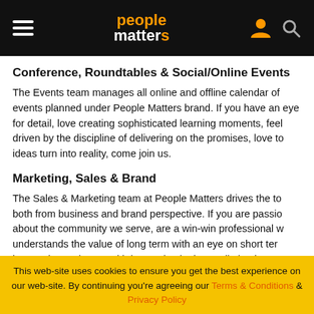people matters
Conference, Roundtables & Social/Online Events
The Events team manages all online and offline calendar of events planned under People Matters brand. If you have an eye for detail, love creating sophisticated learning moments, feel driven by the discipline of delivering on the promises, love to ideas turn into reality, come join us.
Marketing, Sales & Brand
The Sales & Marketing team at People Matters drives the to both from business and brand perspective. If you are passio about the community we serve, are a win-win professional w understands the value of long term with an eye on short ter impact, keep abreast with innovation in the media business space, come join us.
This web-site uses cookies to ensure you get the best experience on our web-site. By continuing you're agreeing our Terms & Conditions & Privacy Policy